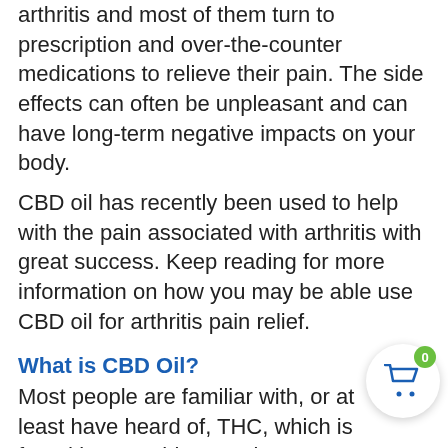arthritis and most of them turn to prescription and over-the-counter medications to relieve their pain. The side effects can often be unpleasant and can have long-term negative impacts on your body.
CBD oil has recently been used to help with the pain associated with arthritis with great success. Keep reading for more information on how you may be able use CBD oil for arthritis pain relief.
What is CBD Oil?
Most people are familiar with, or at least have heard of, THC, which is found in cannabis. THC is psychoactive and causes a feeling of being “high.” Cannabidiol (CBD), another major compound in cannabis, does not cause feelings of being high, making it a more suitable...